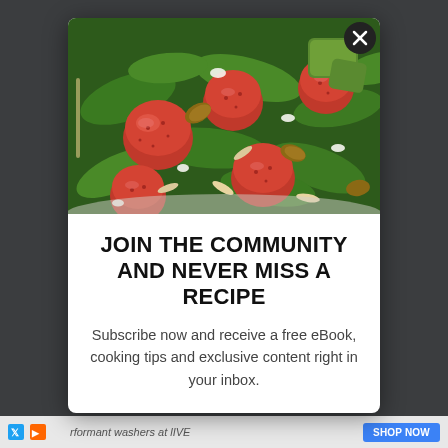[Figure (photo): A bowl of spinach salad with strawberries, pecans, almonds, avocado, and feta cheese]
JOIN THE COMMUNITY AND NEVER MISS A RECIPE
Subscribe now and receive a free eBook, cooking tips and exclusive content right in your inbox.